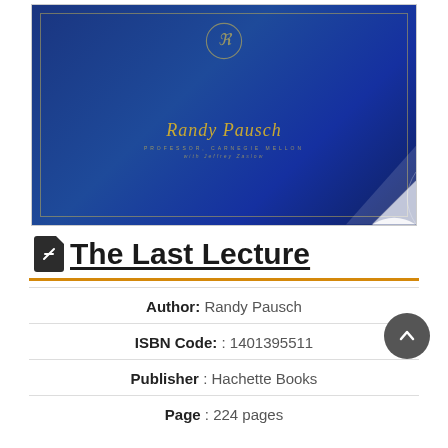[Figure (photo): Book cover of 'The Last Lecture' by Randy Pausch, dark blue background with gold text and decorative border, showing author name 'Randy Pausch' in gold italic serif font, with a page curl at bottom right corner.]
The Last Lecture
Author: Randy Pausch
ISBN Code: : 1401395511
Publisher : Hachette Books
Page : 224 pages